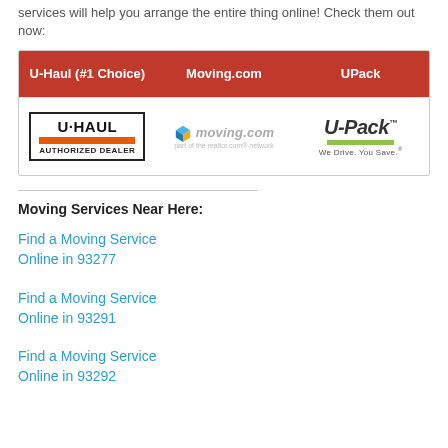services will help you arrange the entire thing online! Check them out now:
| U-Haul (#1 Choice) | Moving.com | UPack |
| --- | --- | --- |
| [U-Haul Authorized Dealer logo] | [moving.com logo] | [U-Pack We Drive. You Save. logo] |
Moving Services Near Here:
Find a Moving Service Online in 93277
Find a Moving Service Online in 93291
Find a Moving Service Online in 93292